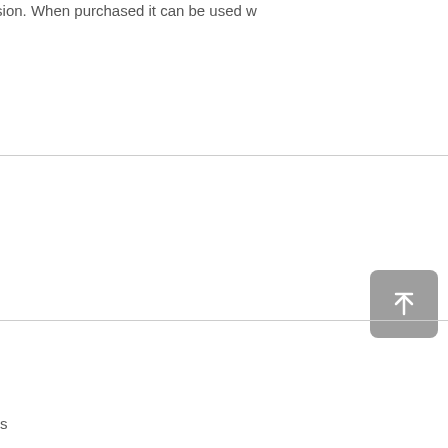a few times per AutoCAD session. When purchased it can be used w
[Figure (other): Back to top button - grey rounded square with upward arrow icon]
s